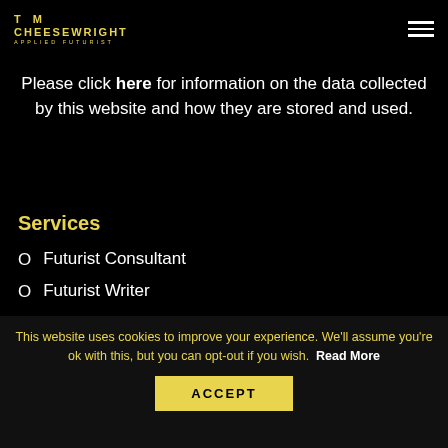TOM CHEESEWRIGHT APPLIED FUTURIST
Please click here for information on the data collected by this website and how they are stored and used.
Services
Futurist Consultant
Futurist Writer
Futurist Broadcaster
Futurist Speaker
This website uses cookies to improve your experience. We'll assume you're ok with this, but you can opt-out if you wish. Read More
ACCEPT